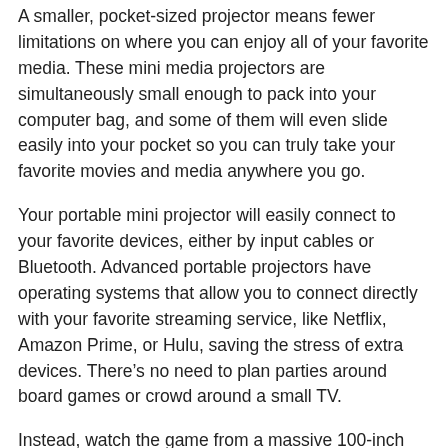A smaller, pocket-sized projector means fewer limitations on where you can enjoy all of your favorite media. These mini media projectors are simultaneously small enough to pack into your computer bag, and some of them will even slide easily into your pocket so you can truly take your favorite movies and media anywhere you go.
Your portable mini projector will easily connect to your favorite devices, either by input cables or Bluetooth. Advanced portable projectors have operating systems that allow you to connect directly with your favorite streaming service, like Netflix, Amazon Prime, or Hulu, saving the stress of extra devices. There's no need to plan parties around board games or crowd around a small TV.
Instead, watch the game from a massive 100-inch screen (or larger), utilize built-in speakers for excellent sound quality, and take your entertainment anywhere you go. With a portable mini projector, you can easily set up a screen in your own backyard,